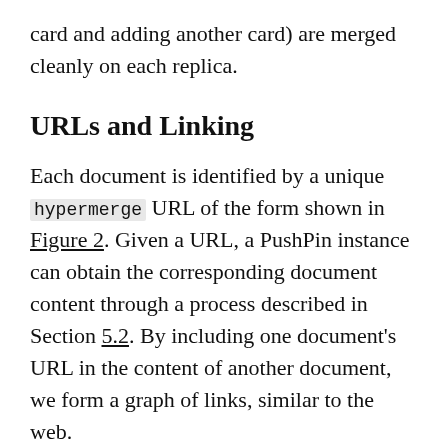card and adding another card) are merged cleanly on each replica.
URLs and Linking
Each document is identified by a unique hypermerge URL of the form shown in Figure 2. Given a URL, a PushPin instance can obtain the corresponding document content through a process described in Section 5.2. By including one document's URL in the content of another document, we form a graph of links, similar to the web.
The same URL can be referenced from multiple places, allowing e.g. the same card to be embedded on multiple boards. URLs can also be shared with another user by sending them through any communication channel, such as email. When a PushPin instance loads a document containing a